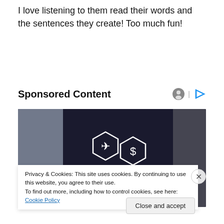I love listening to them read their words and the sentences they create!  Too much fun!
Sponsored Content
[Figure (photo): Person's hand touching hexagonal icons representing an airplane and a dollar sign, suggesting travel finance or credit card services.]
Privacy & Cookies: This site uses cookies. By continuing to use this website, you agree to their use.
To find out more, including how to control cookies, see here: Cookie Policy
Close and accept